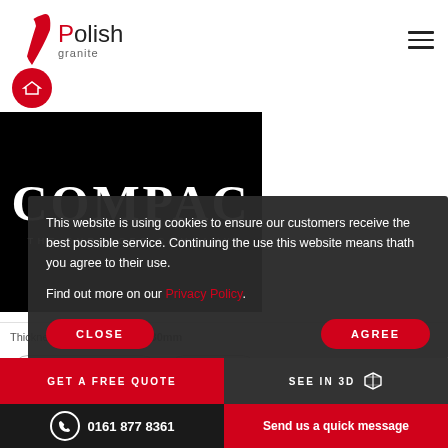Polish Granite
[Figure (logo): COMPAC - The Surfaces Company logo, white text on black background]
Thickness: 12mm · 20mm · 30mm
This website is using cookies to ensure our customers receive the best possible service. Continuing the use this website means thath you agree to their use.

Find out more on our Privacy Policy.
ADD TO WISHLIST
SHARE
CLOSE
AGREE
GET A FREE QUOTE
SEE IN 3D
0161 877 8361 | Send us a quick message